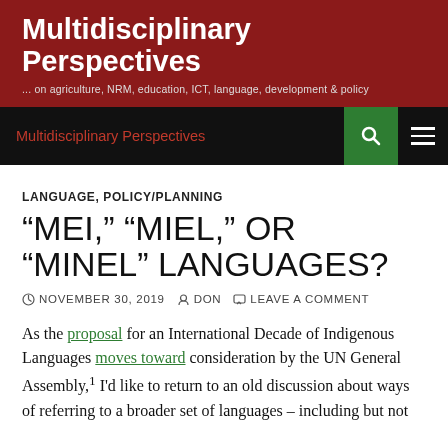Multidisciplinary Perspectives
... on agriculture, NRM, education, ICT, language, development & policy
Multidisciplinary Perspectives
LANGUAGE, POLICY/PLANNING
“MEI,” “MIEL,” OR “MINEL” LANGUAGES?
NOVEMBER 30, 2019  DON  LEAVE A COMMENT
As the proposal for an International Decade of Indigenous Languages moves toward consideration by the UN General Assembly,¹ I’d like to return to an old discussion about ways of referring to a broader set of languages – including but not